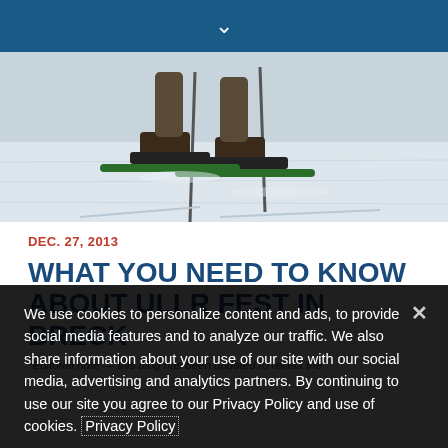▾
[Figure (photo): Skiing photo showing skier legs with ski poles and skis on snowy slope, viewed from close up]
DEC. 27, 2013
WHAT YOU NEED TO KNOW ABOUT ULLR FEST IN BRECK
*Editorial note — this blog has been updated to reflect the
We use cookies to personalize content and ads, to provide social media features and to analyze our traffic. We also share information about your use of our site with our social media, advertising and analytics partners. By continuing to use our site you agree to our Privacy Policy and use of cookies. Privacy Policy
OK